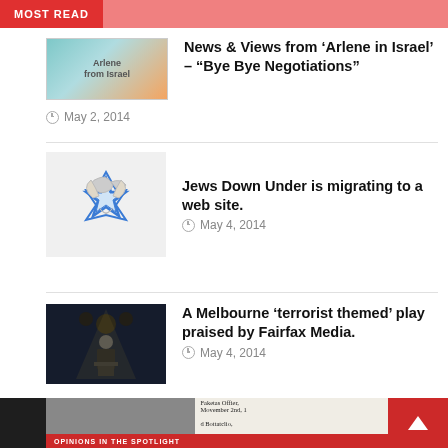MOST READ
[Figure (photo): Thumbnail image for Arlene from Israel article]
News & Views from ‘Arlene in Israel’ – “Bye Bye Negotiations”
May 2, 2014
[Figure (logo): Jews Down Under logo - Star of David with dove]
Jews Down Under is migrating to a web site.
May 4, 2014
[Figure (photo): Photo of man at podium on dark stage]
A Melbourne ‘terrorist themed’ play praised by Fairfax Media.
May 4, 2014
OPINIONS IN THE SPOTLIGHT